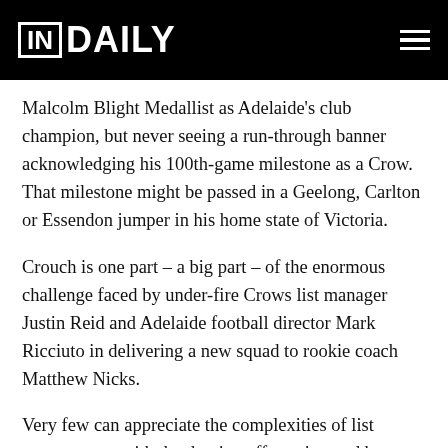IN DAILY
Malcolm Blight Medallist as Adelaide's club champion, but never seeing a run-through banner acknowledging his 100th-game milestone as a Crow. That milestone might be passed in a Geelong, Carlton or Essendon jumper in his home state of Victoria.
Crouch is one part – a big part – of the enormous challenge faced by under-fire Crows list manager Justin Reid and Adelaide football director Mark Ricciuto in delivering a new squad to rookie coach Matthew Nicks.
Very few can appreciate the complexities of list management with the domino effect triggered by contract renewals, trades and drafting. In Adelaide, the most successful operator in recruiting – and list building – is former Central District SANFL league coach Alan Stewart –